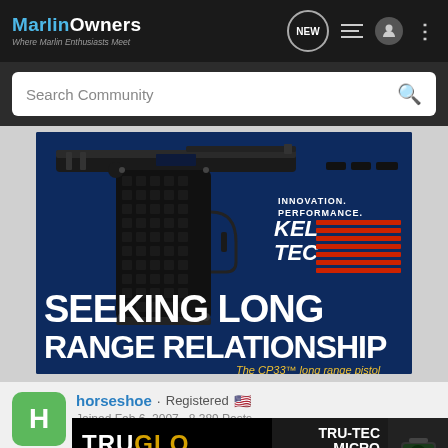MarlinOwners - Where Marlin Enthusiasts Meet
Search Community
[Figure (photo): Kel-Tec CP33 long range pistol advertisement with text SEEKING LONG RANGE RELATIONSHIP and KelTec branding]
horseshoe · Registered
Joined Feb 6, 2007 · 8,389 Posts
#17 · Ma
[Figure (photo): TruGlo advertisement featuring TRU-TEC MICRO sub-compact open red-dot sight]